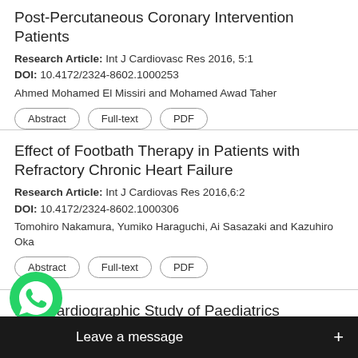Post-Percutaneous Coronary Intervention Patients
Research Article: Int J Cardiovasc Res 2016, 5:1
DOI: 10.4172/2324-8602.1000253
Ahmed Mohamed El Missiri and Mohamed Awad Taher
Effect of Footbath Therapy in Patients with Refractory Chronic Heart Failure
Research Article: Int J Cardiovas Res 2016,6:2
DOI: 10.4172/2324-8602.1000306
Tomohiro Nakamura, Yumiko Haraguchi, Ai Sasazaki and Kazuhiro Oka
Echocardiographic Study of Paediatrics Patients Private Hospital in an Urban City in Nigeria
Research Article: Int J Cardiovasc Res 2018, 7:2
DOI:
Bara